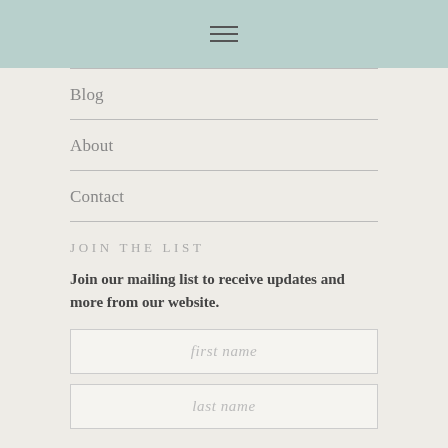≡ (hamburger menu icon)
Blog
About
Contact
JOIN THE LIST
Join our mailing list to receive updates and more from our website.
first name
last name